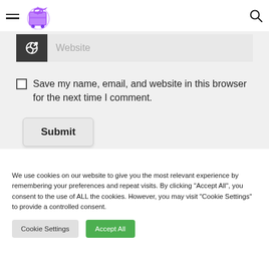[Figure (logo): Travel website logo with airplane and luggage, purple/violet color scheme]
Website
Save my name, email, and website in this browser for the next time I comment.
Submit
We use cookies on our website to give you the most relevant experience by remembering your preferences and repeat visits. By clicking "Accept All", you consent to the use of ALL the cookies. However, you may visit "Cookie Settings" to provide a controlled consent.
Cookie Settings
Accept All